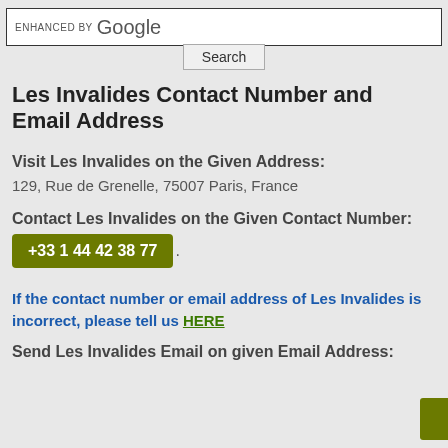[Figure (screenshot): Google enhanced search bar with white background and border]
[Figure (screenshot): Search button]
Les Invalides Contact Number and Email Address
Visit Les Invalides on the Given Address:
129, Rue de Grenelle, 75007 Paris, France
Contact Les Invalides on the Given Contact Number:
+33 1 44 42 38 77.
If the contact number or email address of Les Invalides is incorrect, please tell us HERE
Send Les Invalides Email on given Email Address: